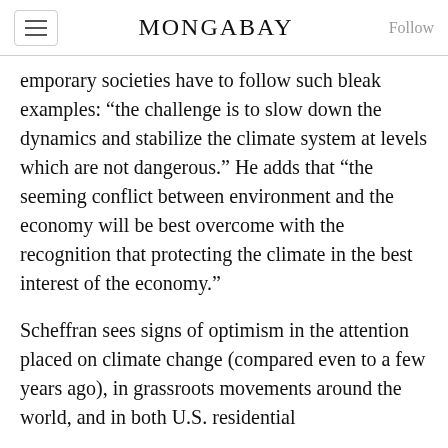MONGABAY
emporary societies have to follow such bleak examples: “the challenge is to slow down the dynamics and stabilize the climate system at levels which are not dangerous.” He adds that “the seeming conflict between environment and the economy will be best overcome with the recognition that protecting the climate in the best interest of the economy.”
Scheffran sees signs of optimism in the attention placed on climate change (compared even to a few years ago), in grassroots movements around the world, and in both U.S. residential